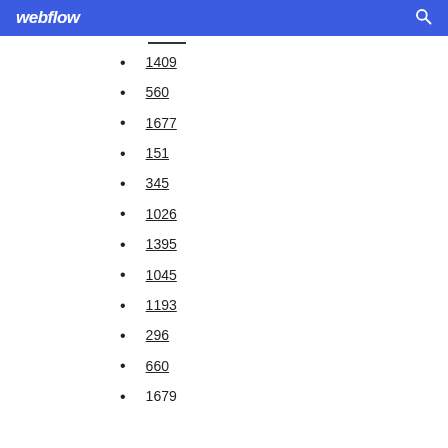webflow
1409
560
1677
151
345
1026
1395
1045
1193
296
660
1679